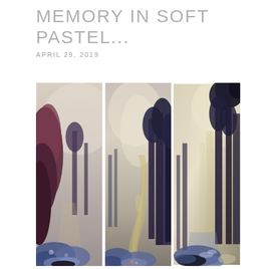MEMORY IN SOFT PASTEL...
APRIL 29, 2019
[Figure (illustration): A triptych painting in soft pastel style showing a winding road through a forest. Three vertical panels: left panel shows a dark forest scene with blue and purple foliage on the ground; center panel shows a winding road disappearing into the distance with tall trees on the right; right panel shows tall trees with light filtering through and a bluish path below.]